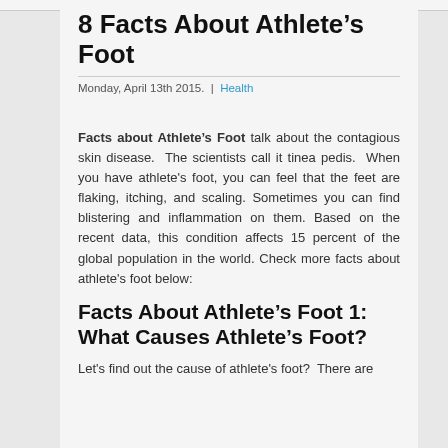8 Facts About Athlete’s Foot
Monday, April 13th 2015.  |  Health
Facts about Athlete’s Foot talk about the contagious skin disease. The scientists call it tinea pedis. When you have athlete's foot, you can feel that the feet are flaking, itching, and scaling. Sometimes you can find blistering and inflammation on them. Based on the recent data, this condition affects 15 percent of the global population in the world. Check more facts about athlete's foot below:
Facts About Athlete’s Foot 1: What Causes Athlete’s Foot?
Let's find out the cause of athlete's foot?  There are